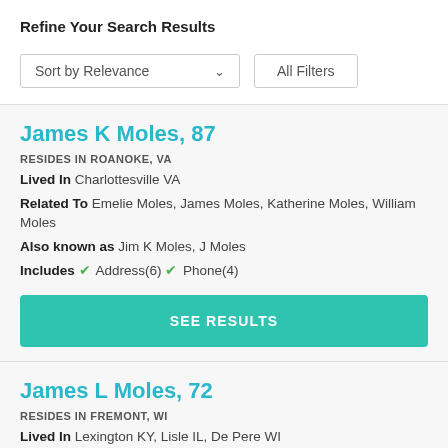Refine Your Search Results
Sort by Relevance   All Filters
James K Moles, 87
RESIDES IN ROANOKE, VA
Lived In Charlottesville VA
Related To Emelie Moles, James Moles, Katherine Moles, William Moles
Also known as Jim K Moles, J Moles
Includes ✔ Address(6) ✔ Phone(4)
SEE RESULTS
James L Moles, 72
RESIDES IN FREMONT, WI
Lived In Lexington KY, Lisle IL, De Pere WI